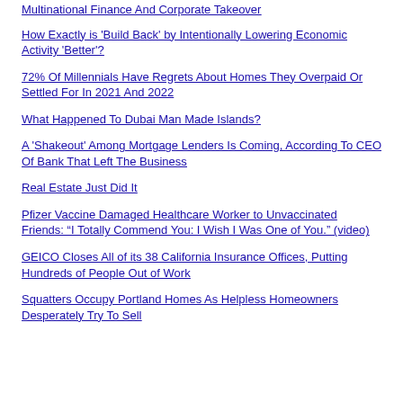Multinational Finance And Corporate Takeover
How Exactly is 'Build Back' by Intentionally Lowering Economic Activity 'Better'?
72% Of Millennials Have Regrets About Homes They Overpaid Or Settled For In 2021 And 2022
What Happened To Dubai Man Made Islands?
A 'Shakeout' Among Mortgage Lenders Is Coming, According To CEO Of Bank That Left The Business
Real Estate Just Did It
Pfizer Vaccine Damaged Healthcare Worker to Unvaccinated Friends: “I Totally Commend You: I Wish I Was One of You.” (video)
GEICO Closes All of its 38 California Insurance Offices, Putting Hundreds of People Out of Work
Squatters Occupy Portland Homes As Helpless Homeowners Desperately Try To Sell